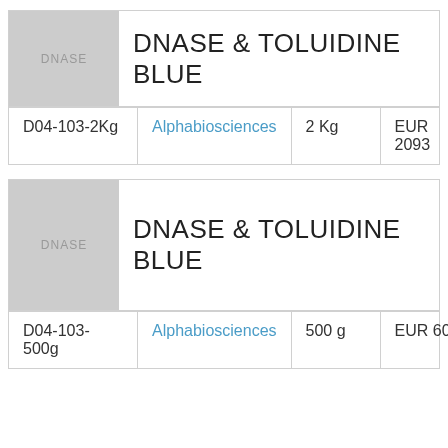[Figure (photo): Gray placeholder image with DNASE text label]
DNASE & TOLUIDINE BLUE
| Catalog | Supplier | Qty | Price |
| --- | --- | --- | --- |
| D04-103-2Kg | Alphabiosciences | 2 Kg | EUR 2093 |
[Figure (photo): Gray placeholder image with DNASE text label]
DNASE & TOLUIDINE BLUE
| Catalog | Supplier | Qty | Price |
| --- | --- | --- | --- |
| D04-103-500g | Alphabiosciences | 500 g | EUR 605 |